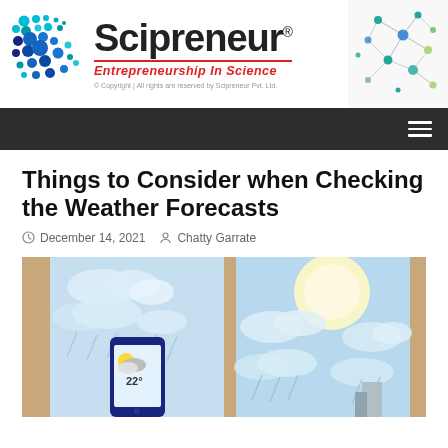[Figure (logo): Scipreneur logo with dots pattern, brand name 'Scipreneur', tagline 'Entrepreneurship In Science', copyright notice, and network graph image on right]
© Copyright | All rights are reserved by Scipreneur Pvt. Ltd.
Things to Consider when Checking the Weather Forecasts
December 14, 2021  Chatty Garrate
[Figure (illustration): Illustration showing a smartphone with weather app displaying 22° temperature alongside a sunny/cloudy sky scene, viewed from a window perspective with tan/brown window frames]